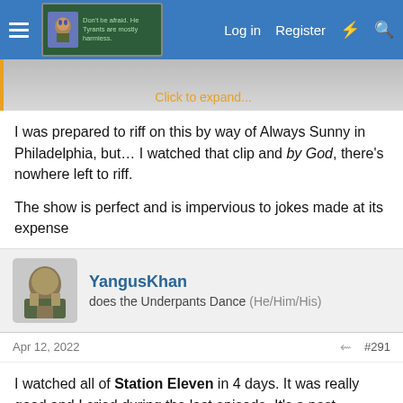Log in  Register
[Figure (screenshot): Forum navigation bar with hamburger menu, forum badge showing avatar and text 'Don't be afraid. He Tyrants are mostly harmless.', and nav links: Log in, Register, lightning bolt icon, search icon]
Click to expand...
I was prepared to riff on this by way of Always Sunny in Philadelphia, but… I watched that clip and by God, there's nowhere left to riff.
The show is perfect and is impervious to jokes made at its expense
YangusKhan
does the Underpants Dance (He/Him/His)
Apr 12, 2022  #291
I watched all of Station Eleven in 4 days. It was really good and I cried during the last episode. It's a post-apocalypse series with a premise that a flu mutation kills 99% of humanity (the show came out late last year, the book it's adapted from is from 2014),